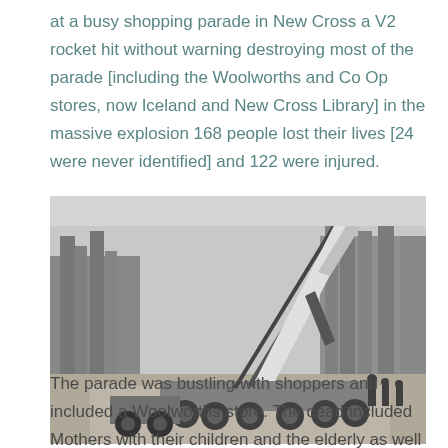at a busy shopping parade in New Cross a V2 rocket hit without warning destroying most of the parade [including the Woolworths and Co Op stores, now Iceland and New Cross Library] in the massive explosion 168 people lost their lives [24 were never identified] and 122 were injured.
[Figure (photo): Black and white photograph of a V2 rocket on a mobile launch platform/trailer, angled diagonally upward. Trees visible in background. Several people visible near the trailer.]
The parade was bustling with shoppers and included a Woolworths store. The dead included Mothers with their children and the elderly as well as local people many came from outside the